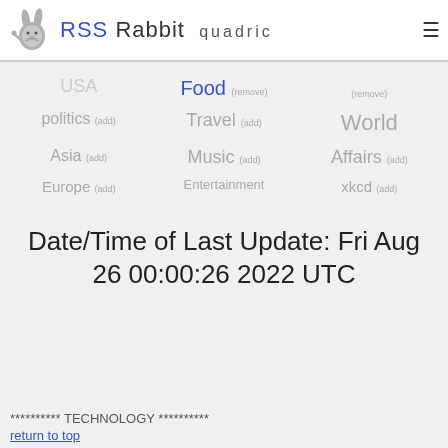RSS Rabbit quadric
USA  Food (remove)  (remove)
politics (add)  Travel (add)  World
Asia (add)  Music (add)  Affairs (add)
Europe (add)  Entertainment  xkcd (add)
Date/Time of Last Update: Fri Aug 26 00:00:26 2022 UTC
********** TECHNOLOGY **********
return to top